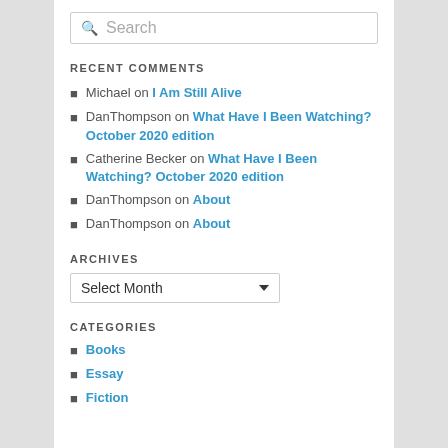Search
RECENT COMMENTS
Michael on I Am Still Alive
DanThompson on What Have I Been Watching? October 2020 edition
Catherine Becker on What Have I Been Watching? October 2020 edition
DanThompson on About
DanThompson on About
ARCHIVES
Select Month
CATEGORIES
Books
Essay
Fiction